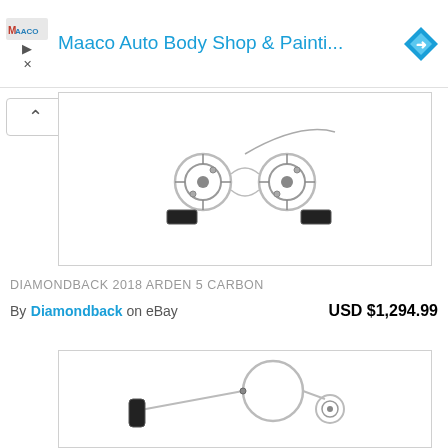[Figure (screenshot): Maaco Auto Body Shop & Painting advertisement banner with logo, play button, close button, and blue diamond badge]
[Figure (photo): Close-up photo of bicycle brake components, pulleys and pedal mechanism on white background]
DIAMONDBACK 2018 ARDEN 5 CARBON
By Diamondback on eBay   USD $1,294.99
[Figure (photo): Close-up photo of bicycle brake cable and brake lever mechanism on white background]